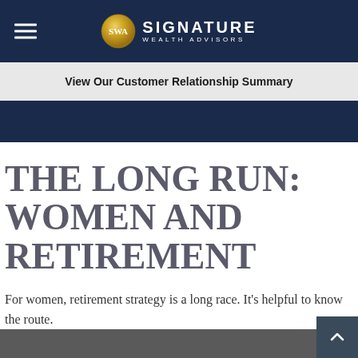Signature Wealth Advisors
View Our Customer Relationship Summary
THE LONG RUN: WOMEN AND RETIREMENT
For women, retirement strategy is a long race. It's helpful to know the route.